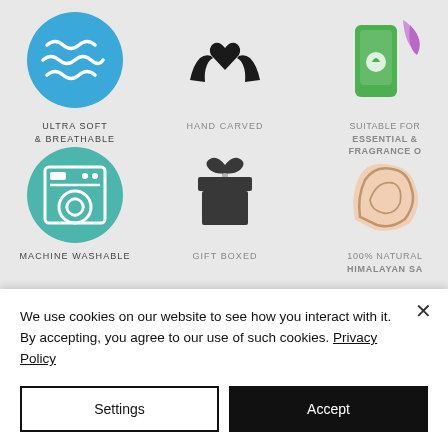[Figure (illustration): Product feature icons grid showing: Ultra Soft & Breathable (blue circle with wave lines), Hand Carved (black hands with heart), Suitable for Essential & Fragrance Oils (green phone with leaf), Machine Washable (teal circle with washing machine), Gift Boxed (black gift box icon), 100% Natural Himalayan Salt (peach/beige rock shape), and partially visible bottom row icons (purple sparkle circle, fingerprint spiral, green oval shapes)]
We use cookies on our website to see how you interact with it. By accepting, you agree to our use of such cookies. Privacy Policy
Settings
Accept